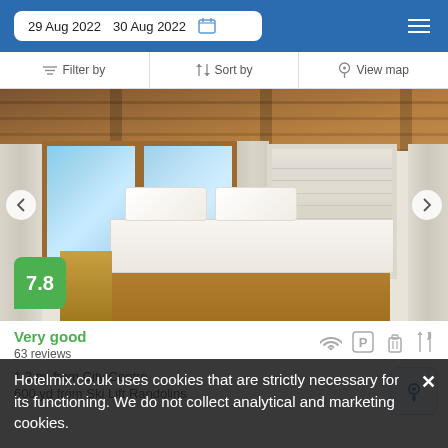29 Aug 2022  30 Aug 2022
Filter by  Sort by  View map
[Figure (photo): Hotel room interior with wooden ceiling, two large windows with mountain view, and twin beds with white linen. Score badge showing 7.8.]
Very good
63 reviews
1.3 mi from City Centre
600 yd from Ski Lift Randolins
Hotelmix.co.uk uses cookies that are strictly necessary for its functioning. We do not collect analytical and marketing cookies.